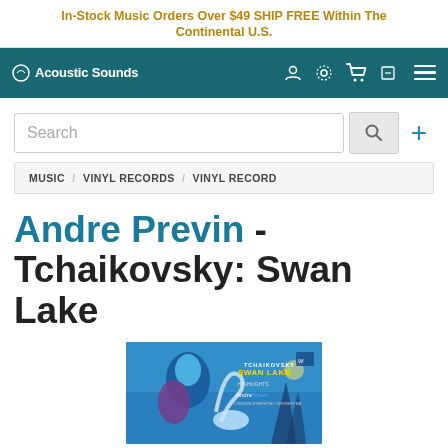In-Stock Music Orders Over $49 SHIP FREE Within The Continental U.S.
[Figure (logo): Acoustic Sounds logo and navigation bar with teal background, user icon, settings icon, cart icon, and hamburger menu]
Search
MUSIC / VINYL RECORDS / VINYL RECORD
Andre Previn - Tchaikovsky: Swan Lake
[Figure (photo): Album cover art for Tchaikovsky Swan Lake conducted by Andre Previn, featuring stylized blue illustration of swan lake figures]